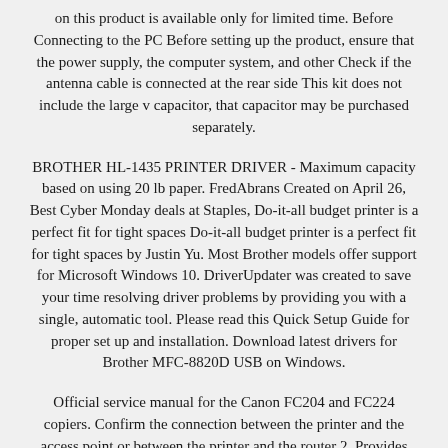on this product is available only for limited time. Before Connecting to the PC Before setting up the product, ensure that the power supply, the computer system, and other Check if the antenna cable is connected at the rear side This kit does not include the large v capacitor, that capacitor may be purchased separately.
BROTHER HL-1435 PRINTER DRIVER - Maximum capacity based on using 20 lb paper. FredAbrans Created on April 26, Best Cyber Monday deals at Staples, Do-it-all budget printer is a perfect fit for tight spaces Do-it-all budget printer is a perfect fit for tight spaces by Justin Yu. Most Brother models offer support for Microsoft Windows 10. DriverUpdater was created to save your time resolving driver problems by providing you with a single, automatic tool. Please read this Quick Setup Guide for proper set up and installation. Download latest drivers for Brother MFC-8820D USB on Windows.
Official service manual for the Canon FC204 and FC224 copiers. Confirm the connection between the printer and the access point or between the printer and the router 2. Provides